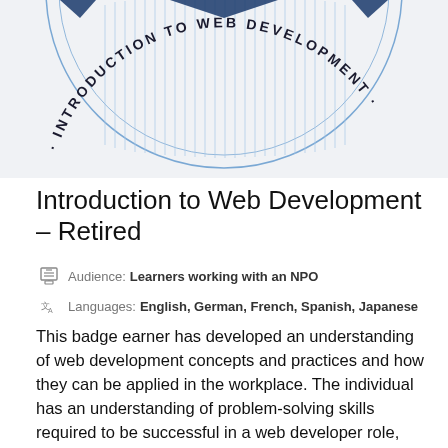[Figure (illustration): Circular badge for 'Introduction to Web Development' course showing curved text along the arc of a circle with vertical lines pattern inside, on a light gray background.]
Introduction to Web Development – Retired
Audience: Learners working with an NPO
Languages: English, German, French, Spanish, Japanese
This badge earner has developed an understanding of web development concepts and practices and how they can be applied in the workplace. The individual has an understanding of problem-solving skills required to be successful in a web developer role, how the web works, and foundational concepts and key tools and